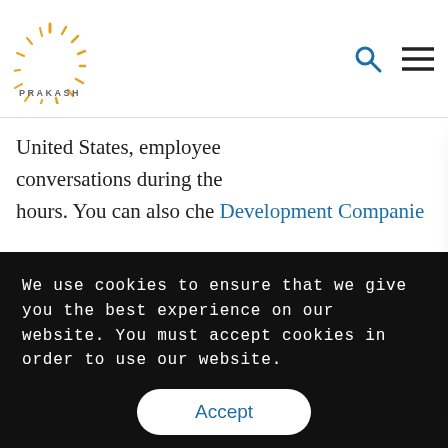[Figure (logo): Prakash logo with sunburst icon in orange/gold and text PRAKASH in grey, with search and hamburger menu icons on the right]
United States, employees conversations during the hours. You can also che Development Companies
Leaves from the pr
Employees in India typic
[Figure (screenshot): Chat popup overlay with Prakash logo, close button (×), greeting 'Hi! 👋', message 'Thanks for stopping by. We are here to chat if you're looking for any more information.', and 'We're real humans, not bots - so if we don't reply within a minute, please email us at']
We use cookies to ensure that we give you the best experience on our website. You must accept cookies in order to use our website.